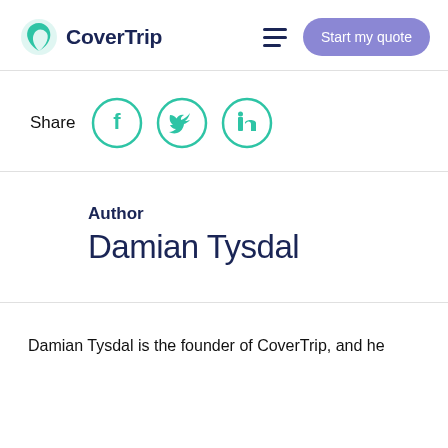CoverTrip | Start my quote
[Figure (logo): CoverTrip logo with green leaf/circle icon and dark navy text]
Share
[Figure (illustration): Social share icons: Facebook (f), Twitter (bird), LinkedIn (in) — all in teal/green circle outlines]
Author
Damian Tysdal
Damian Tysdal is the founder of CoverTrip, and he